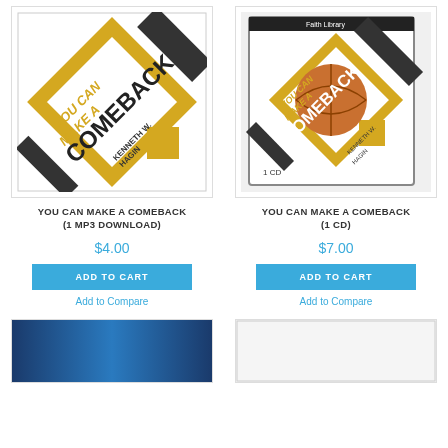[Figure (photo): Book cover: YOU CAN MAKE A COMEBACK by Kenneth W. Hagin, with diagonal geometric shapes in gold and black]
YOU CAN MAKE A COMEBACK (1 MP3 DOWNLOAD)
$4.00
ADD TO CART
Add to Compare
[Figure (photo): CD cover: YOU CAN MAKE A COMEBACK by Kenneth W. Hagin, 1 CD, with basketball and geometric shapes in gold and black]
YOU CAN MAKE A COMEBACK (1 CD)
$7.00
ADD TO CART
Add to Compare
[Figure (photo): Partial product image at bottom left, blue gradient background]
[Figure (photo): Partial product image at bottom right]